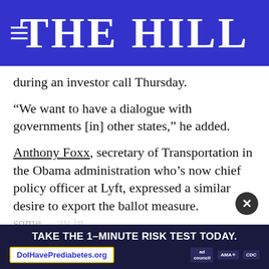THE HILL
during an investor call Thursday.
“We want to have a dialogue with governments [in] other states,” he added.
Anthony Foxx, secretary of Transportation in the Obama administration who’s now chief policy officer at Lyft, expressed a similar desire to export the ballot measure.
“Ideally, now that this issue has been resolved in California we can have a broader conversation about how to replicate some… ay in an interview with The Hill.
[Figure (infographic): Advertisement banner: TAKE THE 1-MINUTE RISK TEST TODAY. DolHavePrediabetes.org with ad council, AMA, and CDC logos.]